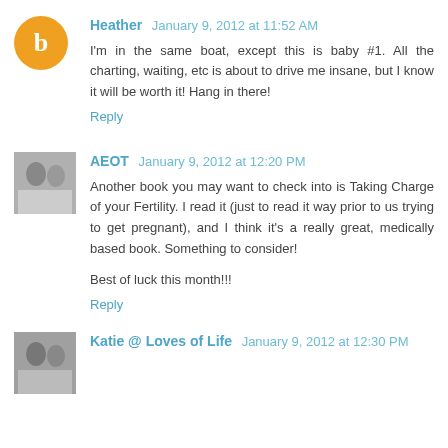Heather January 9, 2012 at 11:52 AM
I'm in the same boat, except this is baby #1. All the charting, waiting, etc is about to drive me insane, but I know it will be worth it! Hang in there!
Reply
AEOT January 9, 2012 at 12:20 PM
Another book you may want to check into is Taking Charge of your Fertility. I read it (just to read it way prior to us trying to get pregnant), and I think it's a really great, medically based book. Something to consider!

Best of luck this month!!!
Reply
Katie @ Loves of Life January 9, 2012 at 12:30 PM